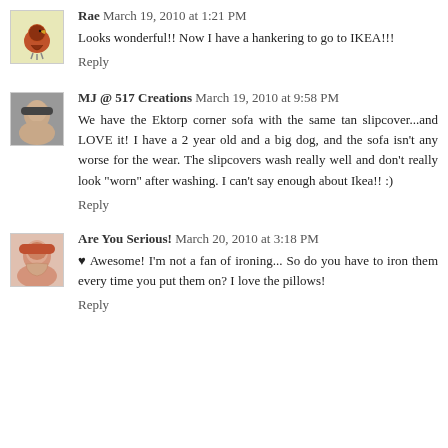Rae  March 19, 2010 at 1:21 PM
Looks wonderful!! Now I have a hankering to go to IKEA!!!
Reply
MJ @ 517 Creations  March 19, 2010 at 9:58 PM
We have the Ektorp corner sofa with the same tan slipcover...and LOVE it! I have a 2 year old and a big dog, and the sofa isn't any worse for the wear. The slipcovers wash really well and don't really look "worn" after washing. I can't say enough about Ikea!! :)
Reply
Are You Serious!  March 20, 2010 at 3:18 PM
♥ Awesome! I'm not a fan of ironing... So do you have to iron them every time you put them on? I love the pillows!
Reply